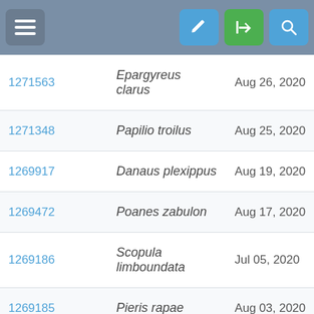[Figure (screenshot): Mobile app navigation bar with hamburger menu button on the left and edit, login, and search icon buttons on the right, on a grey-blue background.]
| ID | Species | Date |
| --- | --- | --- |
| 1271563 | Epargyreus clarus | Aug 26, 2020 |
| 1271348 | Papilio troilus | Aug 25, 2020 |
| 1269917 | Danaus plexippus | Aug 19, 2020 |
| 1269472 | Poanes zabulon | Aug 17, 2020 |
| 1269186 | Scopula limboundata | Jul 05, 2020 |
| 1269185 | Pieris rapae | Aug 03, 2020 |